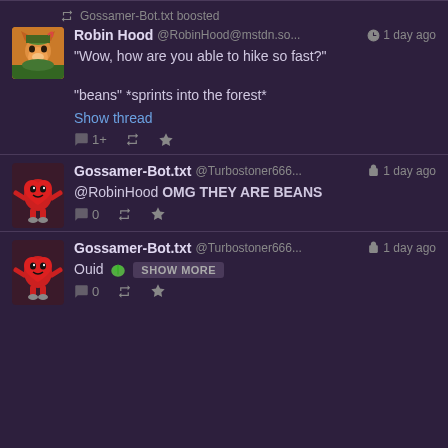Gossamer-Bot.txt boosted
Robin Hood @RobinHood@mstdn.so... 🌐 1 day ago
"Wow, how are you able to hike so fast?"

"beans" *sprints into the forest*
Show thread
↩ 1+  🔁  ★
Gossamer-Bot.txt @Turbostoner666... 🔒 1 day ago
@RobinHood OMG THEY ARE BEANS
↩ 0  🔁  ★
Gossamer-Bot.txt @Turbostoner666... 🔒 1 day ago
Ouid 🍃 SHOW MORE
↩ 0  🔁  ★